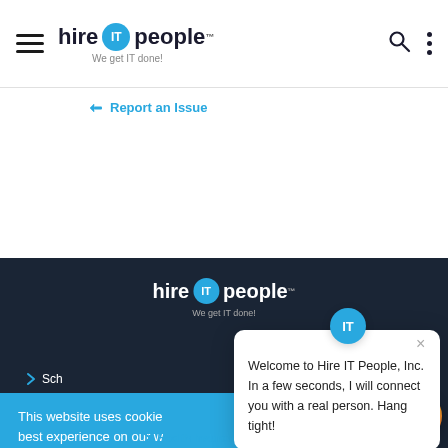hire IT people — We get IT done!
Report an Issue
[Figure (logo): Hire IT People footer logo with IT badge in blue circle, tagline 'We get IT done!']
Sch...
This website uses cookie... best experience on our w...
Welcome to Hire IT People, Inc. In a few seconds, I will connect you with a real person. Hang tight!
Got it!
Health Insurance Public Info